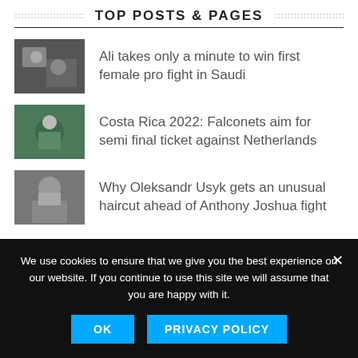TOP POSTS & PAGES
Ali takes only a minute to win first female pro fight in Saudi
Costa Rica 2022: Falconets aim for semi final ticket against Netherlands
Why Oleksandr Usyk gets an unusual haircut ahead of Anthony Joshua fight
Home
We use cookies to ensure that we give you the best experience on our website. If you continue to use this site we will assume that you are happy with it.